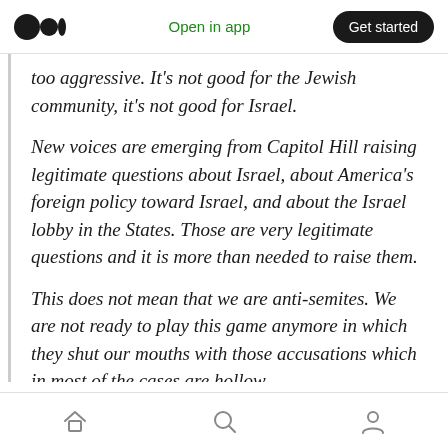Open in app | Get started
too aggressive. It’s not good for the Jewish community, it’s not good for Israel.
New voices are emerging from Capitol Hill raising legitimate questions about Israel, about America’s foreign policy toward Israel, and about the Israel lobby in the States. Those are very legitimate questions and it is more than needed to raise them.
This does not mean that we are anti-semites. We are not ready to play this game anymore in which they shut our mouths with those accusations which in most of the cases are hollow.
Home | Search | Profile